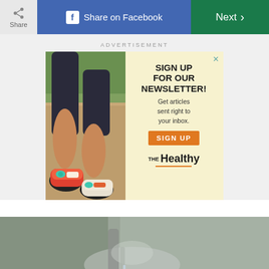Share | Share on Facebook | Next
ADVERTISEMENT
[Figure (infographic): Advertisement banner for 'The Healthy' newsletter signup. Left side shows close-up photo of person walking in colorful running shoes. Right side on yellow background reads 'SIGN UP FOR OUR NEWSLETTER! Get articles sent right to your inbox.' with an orange SIGN UP button and The Healthy logo.]
[Figure (photo): Close-up photo of a person's hand holding a water faucet or running water, blurred background, bottom portion of page.]